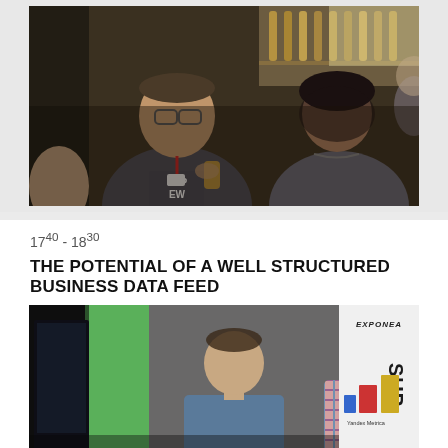[Figure (photo): Two people at a networking event in a bar setting. A man in a dark SuperWeek t-shirt holding a drink, talking to a woman with dark hair.]
17^40 - 18^30
THE POTENTIAL OF A WELL STRUCTURED BUSINESS DATA FEED
[Figure (photo): Two presenters at a conference stage with Exponea and SuperWeek banners visible in the background, along with Yandex Metrica branding.]